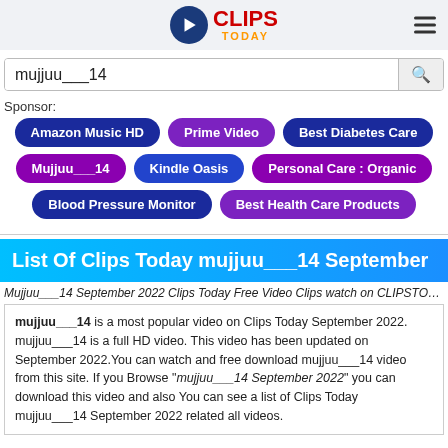[Figure (logo): Clips Today logo with play button icon, red CLIPS text and gold TODAY text]
mujjuu___14
Sponsor:
Amazon Music HD
Prime Video
Best Diabetes Care
Mujjuu___14
Kindle Oasis
Personal Care : Organic
Blood Pressure Monitor
Best Health Care Products
List Of Clips Today mujjuu___14 September
Mujjuu___14 September 2022 Clips Today Free Video Clips watch on CLIPSTODAY.COM
mujjuu___14 is a most popular video on Clips Today September 2022. mujjuu___14 is a full HD video. This video has been updated on September 2022.You can watch and free download mujjuu___14 video from this site. If you Browse "mujjuu___14 September 2022" you can download this video and also You can see a list of Clips Today mujjuu___14 September 2022 related all videos.